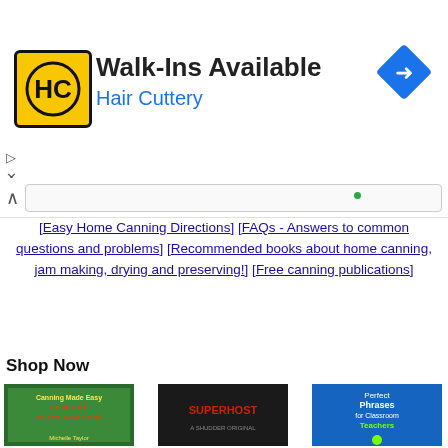[Figure (screenshot): Hair Cuttery advertisement banner with yellow/black HC logo, 'Walk-Ins Available' heading, 'Hair Cuttery' subtitle in blue, and a blue diamond-shaped direction arrow icon on the right.]
[Easy Home Canning Directions] [FAQs - Answers to common questions and problems] [Recommended books about home canning, jam making, drying and preserving!] [Free canning publications
Shop Now
[Figure (illustration): Book cover: Canning Made Easy - Perfect Pepper Relish by Michelle Taylor, showing jars and vegetables]
Canning Made Easy - Perfect Pepper Relish
[Figure (illustration): Movie/show poster: Superhost, dark horror image of a face]
Superhost
[Figure (illustration): Book cover: Perfect Phrases for Classroom Teachers, blue cover with apple graphic]
Perfect Phrases for Classroom Teachers: ...